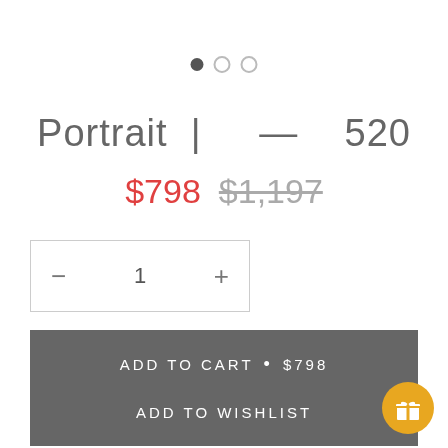[Figure (other): Carousel dot indicators: one filled dark circle followed by two empty/outline circles]
Portrait |  —  520
$798  $1,197
— 1 +
ADD TO CART • $798
ADD TO WISHLIST
[Figure (illustration): Gold circular button with a gift/present icon]